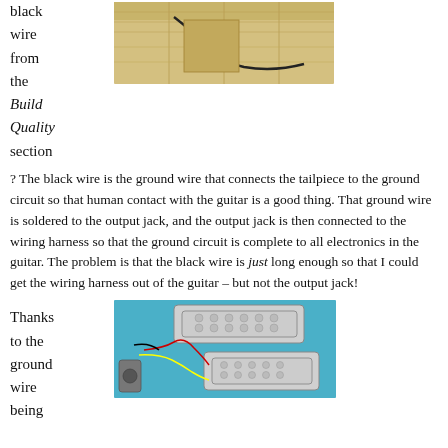black wire from the Build Quality section
[Figure (photo): Interior of a hollow guitar body showing a black ground wire running along the wooden walls inside the body cavity]
? The black wire is the ground wire that connects the tailpiece to the ground circuit so that human contact with the guitar is a good thing. That ground wire is soldered to the output jack, and the output jack is then connected to the wiring harness so that the ground circuit is complete to all electronics in the guitar. The problem is that the black wire is just long enough so that I could get the wiring harness out of the guitar – but not the output jack!
Thanks to the ground wire being
[Figure (photo): Guitar pickups and wiring harness laid out on a blue surface showing two chrome humbucker pickups with wiring components]